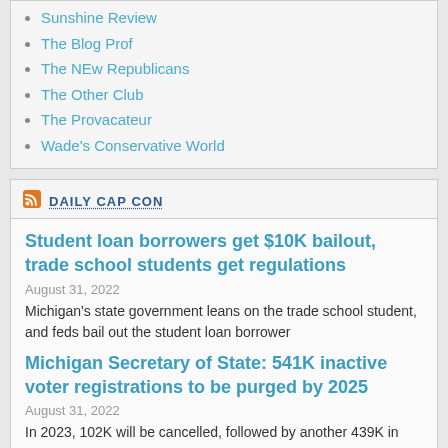Sunshine Review
The Blog Prof
The NEw Republicans
The Other Club
The Provacateur
Wade's Conservative World
DAILY CAP CON
Student loan borrowers get $10K bailout, trade school students get regulations
August 31, 2022
Michigan's state government leans on the trade school student, and feds bail out the student loan borrower
Michigan Secretary of State: 541K inactive voter registrations to be purged by 2025
August 31, 2022
In 2023, 102K will be cancelled, followed by another 439K in 2025, state says.